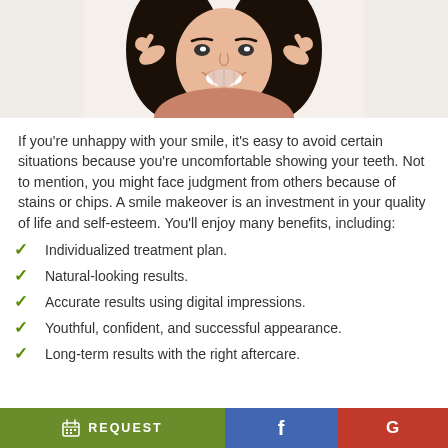[Figure (photo): Woman smiling and pointing to her cheeks/teeth with both index fingers, dark hair, white background]
If you're unhappy with your smile, it's easy to avoid certain situations because you're uncomfortable showing your teeth. Not to mention, you might face judgment from others because of stains or chips. A smile makeover is an investment in your quality of life and self-esteem. You'll enjoy many benefits, including:
Individualized treatment plan.
Natural-looking results.
Accurate results using digital impressions.
Youthful, confident, and successful appearance.
Long-term results with the right aftercare.
REQUEST | Facebook | Google